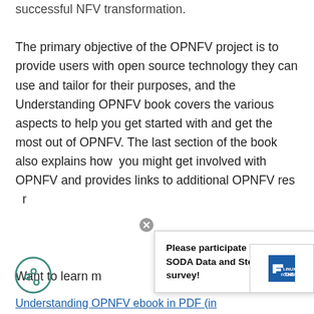successful NFV transformation.

The primary objective of the OPNFV project is to provide users with open source technology they can use and tailor for their purposes, and the Understanding OPNFV book covers the various aspects to help you get started with and get the most out of OPNFV. The last section of the book also explains how  you might get involved with OPNFV and provides links to additional OPNFV resources.
Please participate in our 2022 SODA Data and Storage Trends survey!
[Figure (logo): The Linux Foundation logo]
Want to learn more? th
Understanding OPNFV ebook in PDF (in